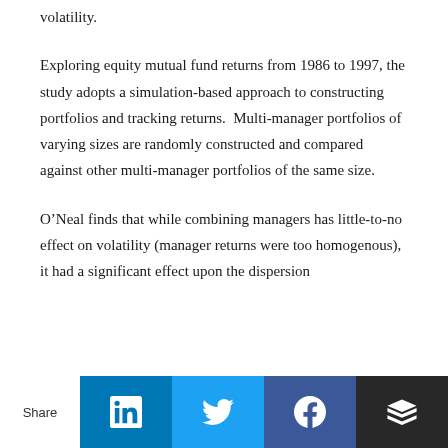volatility.
Exploring equity mutual fund returns from 1986 to 1997, the study adopts a simulation-based approach to constructing portfolios and tracking returns.  Multi-manager portfolios of varying sizes are randomly constructed and compared against other multi-manager portfolios of the same size.
O’Neal finds that while combining managers has little-to-no effect on volatility (manager returns were too homogenous), it had a significant effect upon the dispersion
Share [LinkedIn] [Twitter] [Facebook] [Buffer]